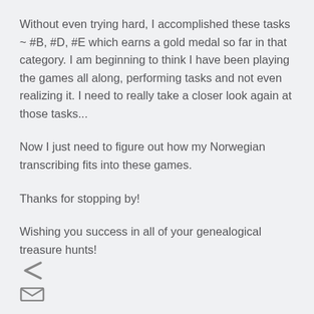Without even trying hard, I accomplished these tasks ~ #B, #D, #E which earns a gold medal so far in that category. I am beginning to think I have been playing the games all along, performing tasks and not even realizing it. I need to really take a closer look again at those tasks...
Now I just need to figure out how my Norwegian transcribing fits into these games.
Thanks for stopping by!
Wishing you success in all of your genealogical treasure hunts!
[Figure (illustration): Share icon (less-than sign style share symbol) at bottom left]
[Figure (illustration): Email/envelope icon partially visible at bottom left below share icon]